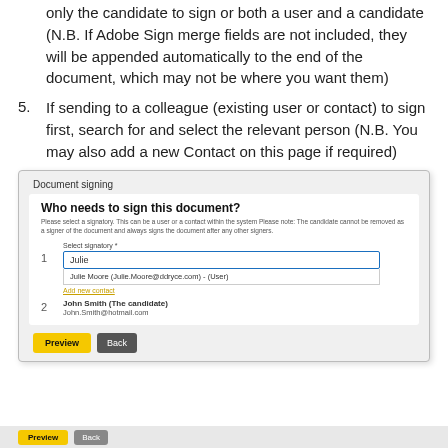only the candidate to sign or both a user and a candidate (N.B. If Adobe Sign merge fields are not included, they will be appended automatically to the end of the document, which may not be where you want them)
5. If sending to a colleague (existing user or contact) to sign first, search for and select the relevant person (N.B. You may also add a new Contact on this page if required)
[Figure (screenshot): Screenshot of a 'Document signing' UI panel showing 'Who needs to sign this document?' with a signatory search field containing 'Julie', a dropdown showing 'Julie Moore (Julie.Moore@ddryce.com) - (User)', an 'Add new contact' link, and candidate row '2 John Smith (The candidate) John.Smith@hotmail.com', with Preview and Back buttons at the bottom.]